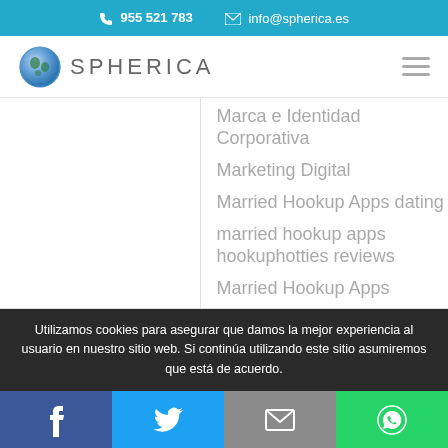955 521 783   info@spherica.es
[Figure (logo): Spherica logo with globe icon and text SPHERICA]
Marca e Identidad Corporativa
Marketing Digital
Married Hookup Apps dating
married hookup apps hookuphotties reviews
Married Hookup Apps
Utilizamos cookies para asegurar que damos la mejor experiencia al usuario en nuestro sitio web. Si continúa utilizando este sitio asumiremos que está de acuerdo.
Facebook | Twitter | Email | WhatsApp